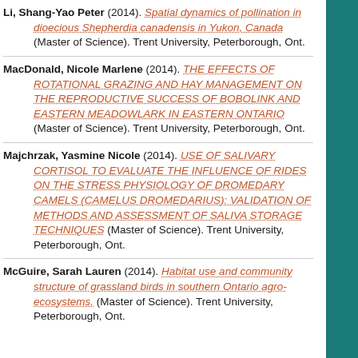Li, Shang-Yao Peter (2014). Spatial dynamics of pollination in dioecious Shepherdia canadensis in Yukon, Canada (Master of Science). Trent University, Peterborough, Ont.
MacDonald, Nicole Marlene (2014). THE EFFECTS OF ROTATIONAL GRAZING AND HAY MANAGEMENT ON THE REPRODUCTIVE SUCCESS OF BOBOLINK AND EASTERN MEADOWLARK IN EASTERN ONTARIO (Master of Science). Trent University, Peterborough, Ont.
Majchrzak, Yasmine Nicole (2014). USE OF SALIVARY CORTISOL TO EVALUATE THE INFLUENCE OF RIDES ON THE STRESS PHYSIOLOGY OF DROMEDARY CAMELS (CAMELUS DROMEDARIUS): VALIDATION OF METHODS AND ASSESSMENT OF SALIVA STORAGE TECHNIQUES (Master of Science). Trent University, Peterborough, Ont.
McGuire, Sarah Lauren (2014). Habitat use and community structure of grassland birds in southern Ontario agro-ecosystems. (Master of Science). Trent University, Peterborough, Ont.